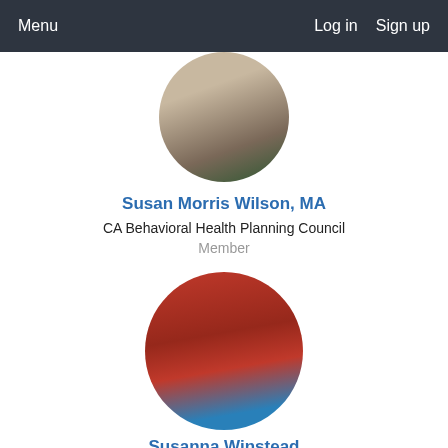Menu   Log in   Sign up
[Figure (photo): Circular profile photo of Susan Morris Wilson, partially cropped at top]
Susan Morris Wilson, MA
CA Behavioral Health Planning Council
Member
[Figure (photo): Circular profile photo of Susanna Winstead, woman with brown hair wearing red top, blue background]
Susanna Winstead